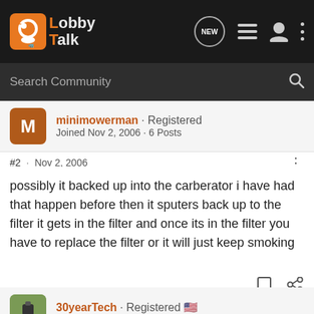[Figure (screenshot): LobbyTalk forum website navigation bar with logo, NEW button, list icon, profile icon, and three-dot menu. Below is a dark search bar with 'Search Community' placeholder and magnifier icon.]
minimowerman · Registered
Joined Nov 2, 2006 · 6 Posts
#2 · Nov 2, 2006
possibly it backed up into the carberator i have had that happen before then it sputers back up to the filter it gets in the filter and once its in the filter you have to replace the filter or it will just keep smoking
30yearTech · Registered 🇺🇸
Joined Sep 14, 2006 · 6,116 Posts